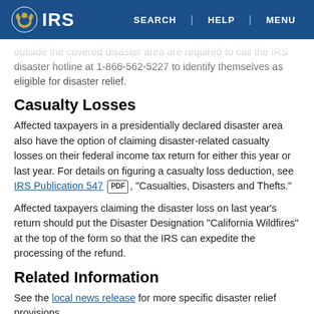IRS — SEARCH | HELP | MENU
outside the covered disaster area are required to call the IRS disaster hotline at 1-866-562-5227 to identify themselves as eligible for disaster relief.
Casualty Losses
Affected taxpayers in a presidentially declared disaster area also have the option of claiming disaster-related casualty losses on their federal income tax return for either this year or last year. For details on figuring a casualty loss deduction, see IRS Publication 547 [PDF], “Casualties, Disasters and Thefts.”
Affected taxpayers claiming the disaster loss on last year’s return should put the Disaster Designation “California Wildfires” at the top of the form so that the IRS can expedite the processing of the refund.
Related Information
See the local news release for more specific disaster relief provisions.